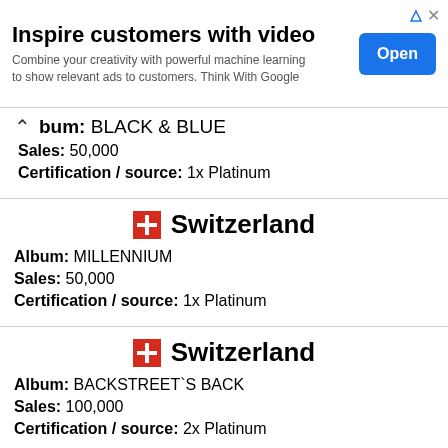[Figure (other): Advertisement banner: 'Inspire customers with video' with Open button]
Album: BLACK & BLUE
Sales: 50,000
Certification / source: 1x Platinum
Switzerland
Album: MILLENNIUM
Sales: 50,000
Certification / source: 1x Platinum
Switzerland
Album: BACKSTREET`S BACK
Sales: 100,000
Certification / source: 2x Platinum